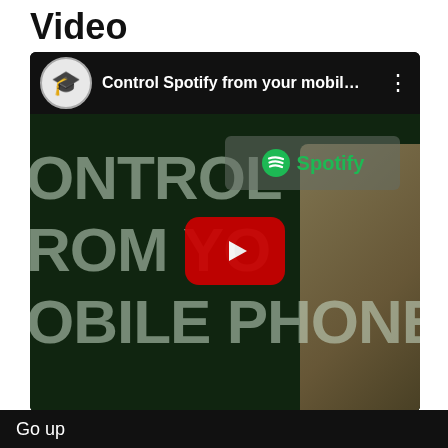Video
[Figure (screenshot): YouTube video thumbnail showing 'Control Spotify from your mobil...' with a dark green background, text reading 'ONTROL', 'ROM YO', 'OBILE PHONE', Spotify logo, YouTube play button overlay, and a person's face on the right side. Video player chrome shown with channel icon (graduation cap) at top.]
Go up